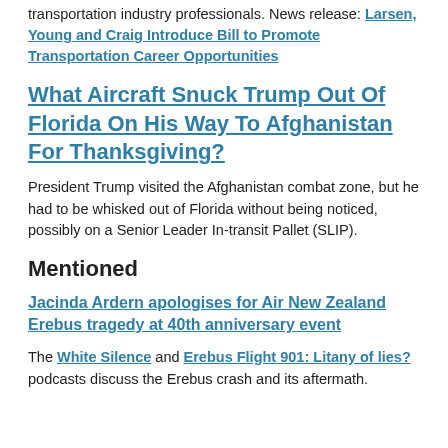transportation industry professionals. News release: Larsen, Young and Craig Introduce Bill to Promote Transportation Career Opportunities
What Aircraft Snuck Trump Out Of Florida On His Way To Afghanistan For Thanksgiving?
President Trump visited the Afghanistan combat zone, but he had to be whisked out of Florida without being noticed, possibly on a Senior Leader In-transit Pallet (SLIP).
Mentioned
Jacinda Ardern apologises for Air New Zealand Erebus tragedy at 40th anniversary event
The White Silence and Erebus Flight 901: Litany of lies? podcasts discuss the Erebus crash and its aftermath.